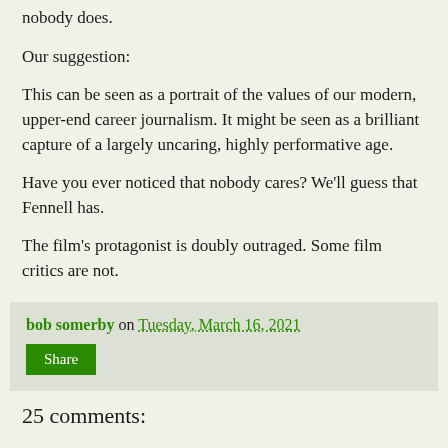nobody does.
Our suggestion:
This can be seen as a portrait of the values of our modern, upper-end career journalism. It might be seen as a brilliant capture of a largely uncaring, highly performative age.
Have you ever noticed that nobody cares? We'll guess that Fennell has.
The film's protagonist is doubly outraged. Some film critics are not.
bob somerby on Tuesday, March 16, 2021
Share
25 comments: